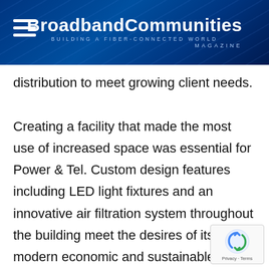BroadbandCommunities MAGAZINE — BUILDING A FIBER-CONNECTED WORLD
distribution to meet growing client needs.
Creating a facility that made the most use of increased space was essential for Power & Tel. Custom design features including LED light fixtures and an innovative air filtration system throughout the building meet the desires of its modern economic and sustainable approach, while its larger workspace and implementation of electric car charging stations account for future growth and technological progress.